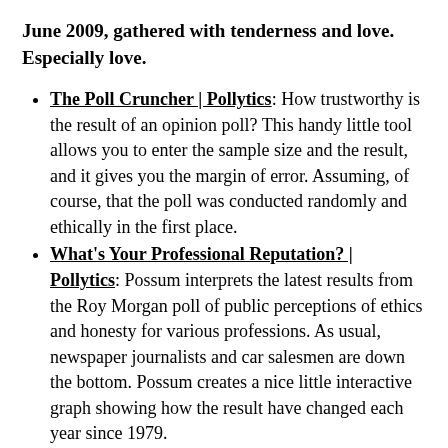June 2009, gathered with tenderness and love. Especially love.
The Poll Cruncher | Pollytics: How trustworthy is the result of an opinion poll? This handy little tool allows you to enter the sample size and the result, and it gives you the margin of error. Assuming, of course, that the poll was conducted randomly and ethically in the first place.
What's Your Professional Reputation? | Pollytics: Possum interprets the latest results from the Roy Morgan poll of public perceptions of ethics and honesty for various professions. As usual, newspaper journalists and car salesmen are down the bottom. Possum creates a nice little interactive graph showing how the result have changed each year since 1979.
Nineteen Eighty-Four turns sixty | Inside Story: Brian McFarlane's take on the 60th anniversary of the publication of Orwell's classic. Somehow, while talking about film adaptations and so on attention to Phillip K. Di...